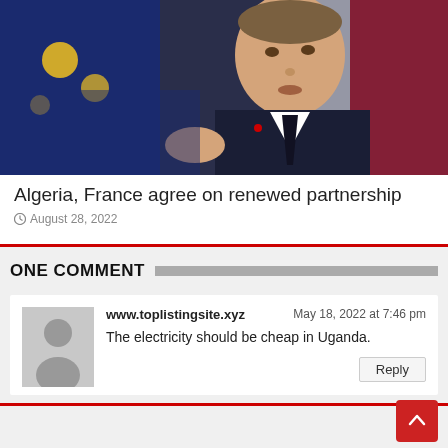[Figure (photo): Photo of Emmanuel Macron in dark suit gesturing with hand, European Union flag and French flag visible in background]
Algeria, France agree on renewed partnership
August 28, 2022
ONE COMMENT
www.toplistingsite.xyz
May 18, 2022 at 7:46 pm
The electricity should be cheap in Uganda.